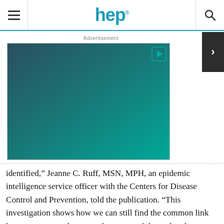hep
Advertisement
[Figure (other): Advertisement box with teal/dark teal gradient background and a play button icon in the top-right corner]
identified,” Jeanne C. Ruff, MSN, MPH, an epidemic intelligence service officer with the Centers for Disease Control and Prevention, told the publication. “This investigation shows how we can still find the common link between cases and remove the source of the outbreak.